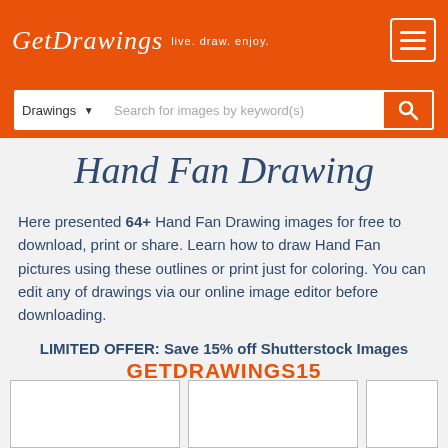GetDrawings · live. draw. enjoy.
Hand Fan Drawing
Here presented 64+ Hand Fan Drawing images for free to download, print or share. Learn how to draw Hand Fan pictures using these outlines or print just for coloring. You can edit any of drawings via our online image editor before downloading.
LIMITED OFFER: Save 15% off Shutterstock Images
GETDRAWINGS15
[Figure (photo): Three empty image placeholder boxes for hand fan drawing thumbnails]